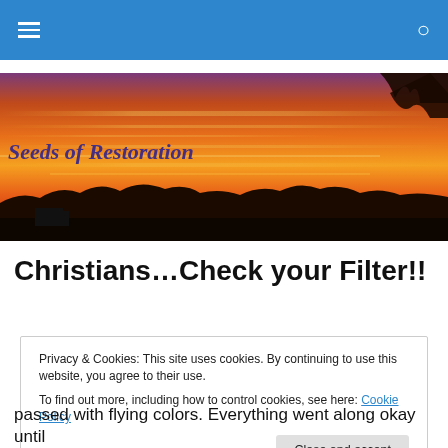≡  🔍
[Figure (photo): Sunset landscape banner image with orange and red sky, silhouette of trees and a building on the horizon. Text 'Seeds of Restoration' overlaid in purple italic font at the left.]
Christians…Check your Filter!!
Privacy & Cookies: This site uses cookies. By continuing to use this website, you agree to their use.
To find out more, including how to control cookies, see here: Cookie Policy
[Close and accept]
passed with flying colors. Everything went along okay until